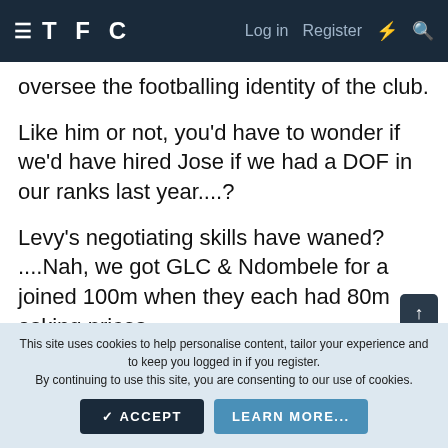TFC | Log in | Register
oversee the footballing identity of the club.
Like him or not, you'd have to wonder if we'd have hired Jose if we had a DOF in our ranks last year....?
Levy's negotiating skills have waned? ....Nah, we got GLC & Ndombele for a joined 100m when they each had 80m asking prices.
Sissoko: Constantly mentioned, yet never evidenced
This site uses cookies to help personalise content, tailor your experience and to keep you logged in if you register.
By continuing to use this site, you are consenting to our use of cookies.